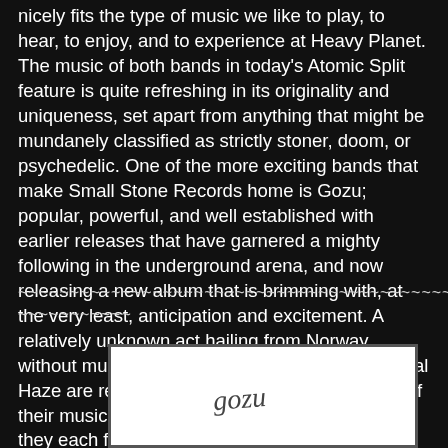nicely fits the type of music we like to play, to hear, to enjoy, and to experience at Heavy Planet. The music of both bands in today's Atomic Split feature is quite refreshing in its originality and uniqueness, set apart from anything that might be mundanely classified as strictly stoner, doom, or psychedelic. One of the more exciting bands that make Small Stone Records home is Gozu; popular, powerful, and well established with earlier releases that have garnered a mighty following in the underground arena, and now releasing a new album that is brimming with, at the very least, anticipation and excitement. A relatively unknown act hailing from Norway without much history upon which to draw, Spectral Haze are relying here strictly upon the strength of their music. Today we review both and see how they each fare. So, without further adieu . . .
~~~~~~~~~~~~~~~~~~~~~~~~~~~~~~~~~~~~~~~~~~~~~~~~~~~~~~~~~~~~~~~~~~
[Figure (illustration): White rectangle containing a handwritten-style Gozu logo/signature in dark ink on white background]